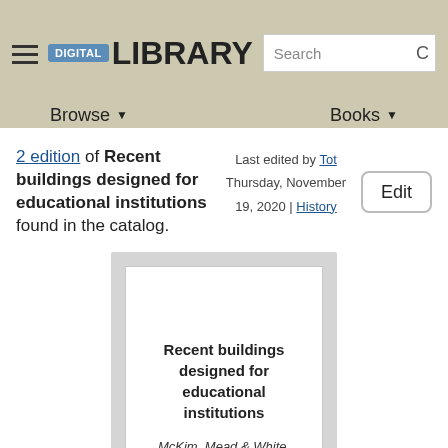DIGITAL LIBRARY | Search | Browse | Books
2 edition of Recent buildings designed for educational institutions found in the catalog.
Last edited by Tot
Thursday, November 19, 2020 | History
[Figure (illustration): Book cover card showing title 'Recent buildings designed for educational institutions' and author 'McKim, Mead & White.' on a light gray card with white inner border.]